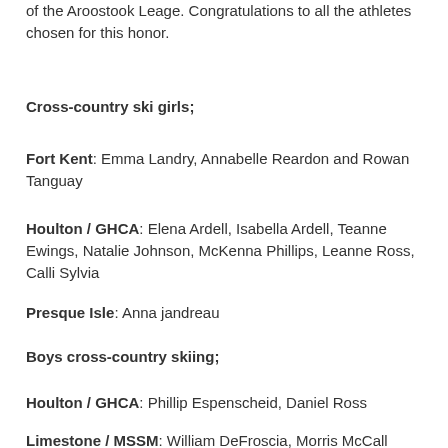of the Aroostook Leage. Congratulations to all the athletes chosen for this honor.
Cross-country ski girls;
Fort Kent: Emma Landry, Annabelle Reardon and Rowan Tanguay
Houlton / GHCA: Elena Ardell, Isabella Ardell, Teanne Ewings, Natalie Johnson, McKenna Phillips, Leanne Ross, Calli Sylvia
Presque Isle: Anna jandreau
Boys cross-country skiing;
Houlton / GHCA: Phillip Espenscheid, Daniel Ross
Limestone / MSSM: William DeFroscia, Morris McCall